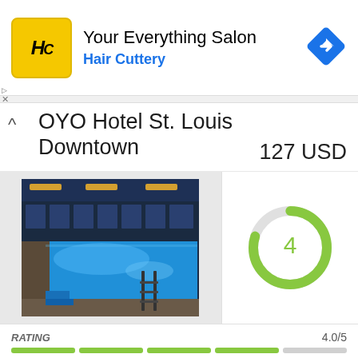[Figure (screenshot): Hair Cuttery ad banner with yellow HC logo, text 'Your Everything Salon' and 'Hair Cuttery' in blue, with blue navigation diamond icon]
OYO Hotel St. Louis Downtown
127 USD
[Figure (photo): Indoor hotel swimming pool at night with blue water and ambient lighting]
[Figure (donut-chart): Rating donut chart showing 4 out of 5]
RATING    4.0/5